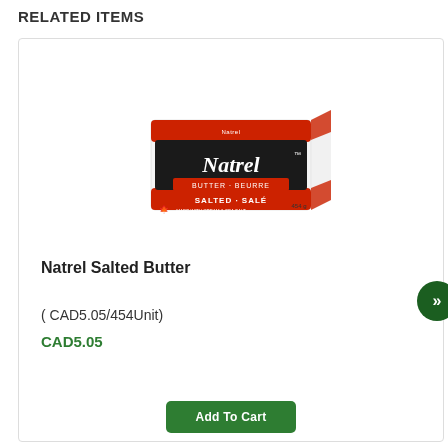RELATED ITEMS
[Figure (photo): Natrel Salted Butter product box — white/red/black packaging, 454g, showing brand name Natrel, 'Butter · Beurre', 'Salted · Salé', and 'Made with cream & sea salt / Fait de crème et du sel de mer']
Natrel Salted Butter
( CAD5.05/454Unit)
CAD5.05
Add To Cart